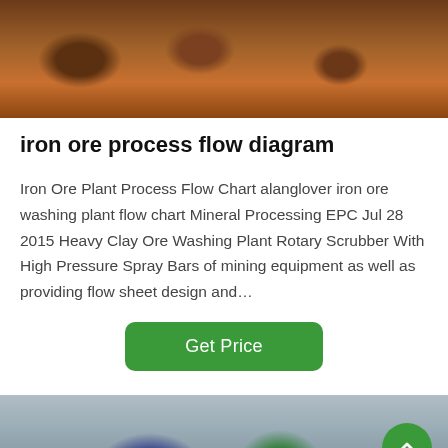[Figure (photo): Industrial machinery photo showing rusty orange iron ore processing equipment, rollers and mechanical components in a factory setting]
iron ore process flow diagram
Iron Ore Plant Process Flow Chart alanglover iron ore washing plant flow chart Mineral Processing EPC Jul 28 2015 Heavy Clay Ore Washing Plant Rotary Scrubber With High Pressure Spray Bars of mining equipment as well as providing flow sheet design and…
[Figure (photo): Industrial plant interior photo showing machinery including blue and green equipment against concrete walls, with a customer service representative avatar overlay and navigation bar at bottom showing Leave Message and Chat Online options]